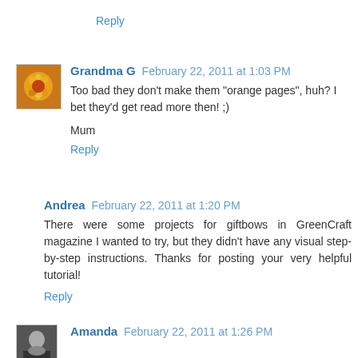Reply
Grandma G  February 22, 2011 at 1:03 PM
Too bad they don't make them "orange pages", huh? I bet they'd get read more then! ;)
Mum
Reply
Andrea  February 22, 2011 at 1:20 PM
There were some projects for giftbows in GreenCraft magazine I wanted to try, but they didn't have any visual step-by-step instructions. Thanks for posting your very helpful tutorial!
Reply
Amanda  February 22, 2011 at 1:26 PM